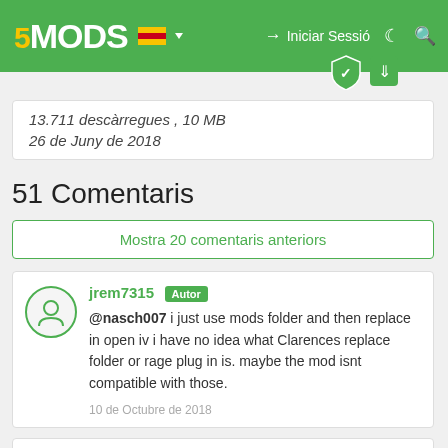5MODS | Iniciar Sessió
13.711 descàrregues , 10 MB
26 de Juny de 2018
51 Comentaris
Mostra 20 comentaris anteriors
jrem7315 [Autor]
@nasch007 i just use mods folder and then replace in open iv i have no idea what Clarences replace folder or rage plug in is. maybe the mod isnt compatible with those.
10 de Octubre de 2018
nasch007
@jrem7315 Yeah I'm not sure to be honest. I'm going to wait for him to update his replace mod and give this another try.